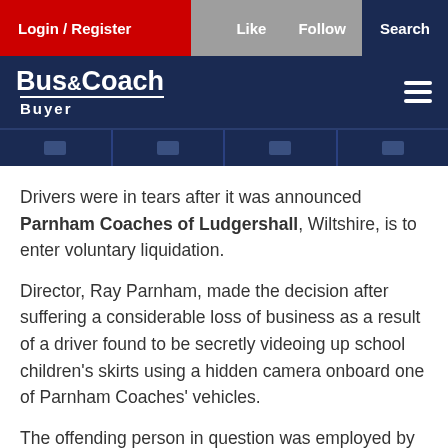Login / Register   Like   Follow   Search
[Figure (logo): Bus&Coach Buyer logo on dark navy background with hamburger menu icon]
Drivers were in tears after it was announced Parnham Coaches of Ludgershall, Wiltshire, is to enter voluntary liquidation.
Director, Ray Parnham, made the decision after suffering a considerable loss of business as a result of a driver found to be secretly videoing up school children's skirts using a hidden camera onboard one of Parnham Coaches' vehicles.
The offending person in question was employed by the operator on two separate occasions. The first round of